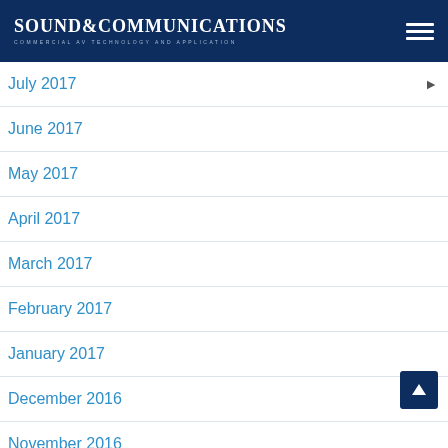SOUND & COMMUNICATIONS — COMMERCIAL AV TECHNOLOGY AND APPLICATION
July 2017
June 2017
May 2017
April 2017
March 2017
February 2017
January 2017
December 2016
November 2016